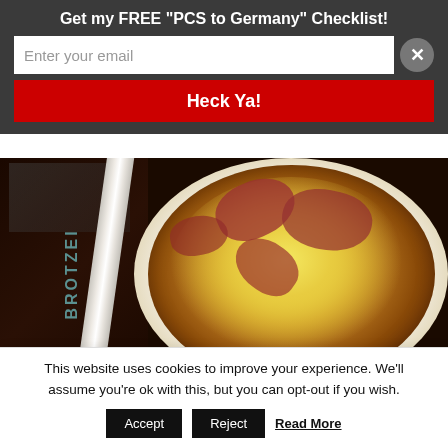Get my FREE "PCS to Germany" Checklist!
[Figure (screenshot): Email signup form with text input 'Enter your email', a red 'Heck Ya!' submit button, and a close (X) button]
[Figure (photo): Overhead photo of a pizza Hawaii (ham and pineapple) on a white plate, with a menu booklet visible on the dark table to the left]
Kleine Freiheit – Pizza Hawaii
This website uses cookies to improve your experience. We'll assume you're ok with this, but you can opt-out if you wish.
Accept  Reject  Read More